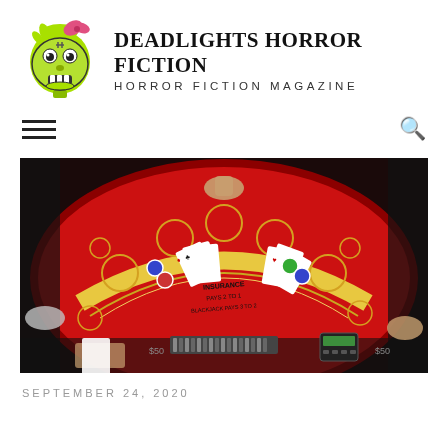DEADLIGHTS HORROR FICTION — HORROR FICTION MAGAZINE
[Figure (photo): Overhead view of a casino blackjack table with red felt, playing cards scattered, chips, and players' hands visible around the edges]
SEPTEMBER 24, 2020